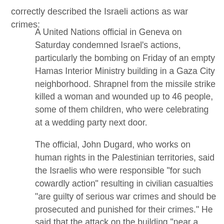correctly described the Israeli actions as war crimes:
A United Nations official in Geneva on Saturday condemned Israel's actions, particularly the bombing on Friday of an empty Hamas Interior Ministry building in a Gaza City neighborhood. Shrapnel from the missile strike killed a woman and wounded up to 46 people, some of them children, who were celebrating at a wedding party next door.
The official, John Dugard, who works on human rights in the Palestinian territories, said the Israelis who were responsible "for such cowardly action" resulting in civilian casualties "are guilty of serious war crimes and should be prosecuted and punished for their crimes." He said that the attack on the building "near a wedding party venue" was carried out "with what must have been foreseen loss of life and injury to many civilians."